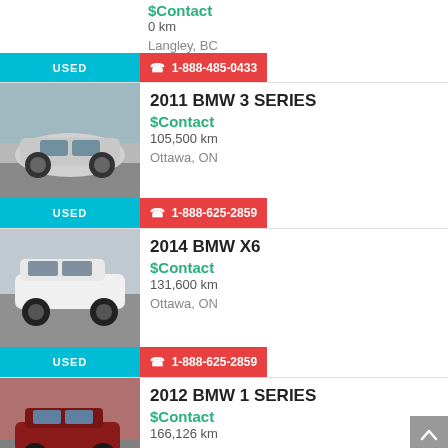$Contact
0 km
Langley, BC
USED
1-888-485-0433
2011 BMW 3 SERIES
$Contact
105,500 km
Ottawa, ON
USED
1-888-625-2859
2014 BMW X6
$Contact
131,600 km
Ottawa, ON
USED
1-888-625-2859
2012 BMW 1 SERIES
$Contact
166,126 km
Barrie, ON
USED
1-888-739-2915